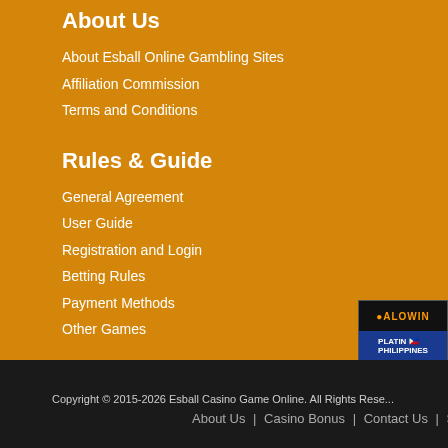About Us
About Esball Online Gambling Sites
Affiliation Commission
Terms and Conditions
Rules & Guide
General Agreement
User Guide
Registration and Login
Betting Rules
Payment Methods
Other Games
[Figure (screenshot): Casino promotional banner (ALOWIN / Platin Philippines) with woman and slot graphics]
Copyright © 2015-2026 Esball Casino Game Online. All Rights Reserved.
About Us | Casino Bonus | Contact Us | Site Map